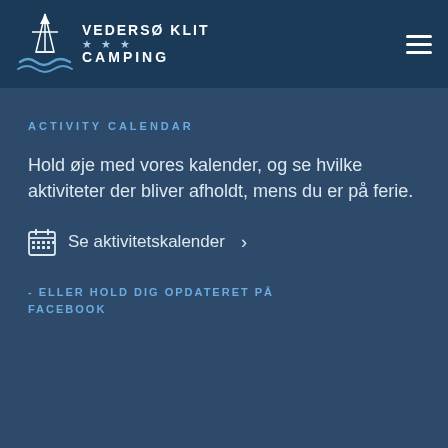VEDERSØ KLIT ★★★ CAMPING
ACTIVITY CALENDAR
Hold øje med vores kalender, og se hvilke aktiviteter der bliver afholdt, mens du er på ferie.
Se aktivitetskalender ›
- ELLER HOLD DIG OPDATERET PÅ FACEBOOK